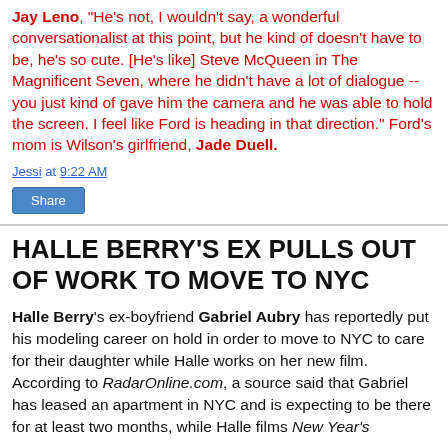Jay Leno, "He's not, I wouldn't say, a wonderful conversationalist at this point, but he kind of doesn't have to be, he's so cute. [He's like] Steve McQueen in The Magnificent Seven, where he didn't have a lot of dialogue -- you just kind of gave him the camera and he was able to hold the screen. I feel like Ford is heading in that direction." Ford's mom is Wilson's girlfriend, Jade Duell.
Jessi at 9:22 AM
HALLE BERRY'S EX PULLS OUT OF WORK TO MOVE TO NYC
Halle Berry's ex-boyfriend Gabriel Aubry has reportedly put his modeling career on hold in order to move to NYC to care for their daughter while Halle works on her new film. According to RadarOnline.com, a source said that Gabriel has leased an apartment in NYC and is expecting to be there for at least two months, while Halle films New Year's